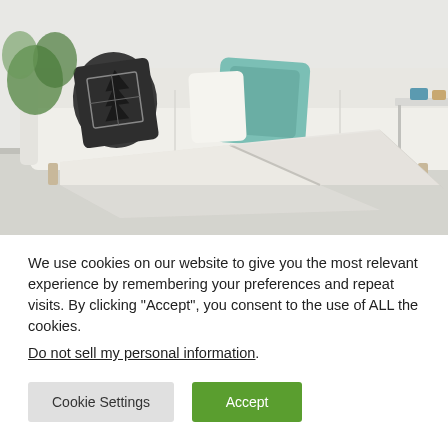[Figure (photo): A folded tri-fold mattress/foam mat propped up in a living room, with a white sofa with decorative pillows in the background and a wooden tripod lamp and side table.]
We use cookies on our website to give you the most relevant experience by remembering your preferences and repeat visits. By clicking “Accept”, you consent to the use of ALL the cookies. Do not sell my personal information.
Cookie Settings
Accept